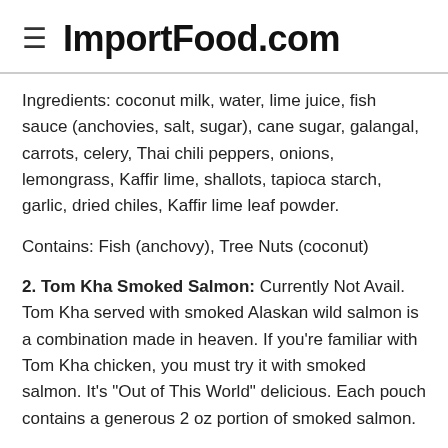ImportFood.com
Ingredients: coconut milk, water, lime juice, fish sauce (anchovies, salt, sugar), cane sugar, galangal, carrots, celery, Thai chili peppers, onions, lemongrass, Kaffir lime, shallots, tapioca starch, garlic, dried chiles, Kaffir lime leaf powder.
Contains: Fish (anchovy), Tree Nuts (coconut)
2. Tom Kha Smoked Salmon: Currently Not Avail. Tom Kha served with smoked Alaskan wild salmon is a combination made in heaven. If you're familiar with Tom Kha chicken, you must try it with smoked salmon. It's "Out of This World" delicious. Each pouch contains a generous 2 oz portion of smoked salmon.
Ingredients: coconut milk, smoked Sockeye or Coho salmon (Sockeye or Coho salmon, salt, natural alder...